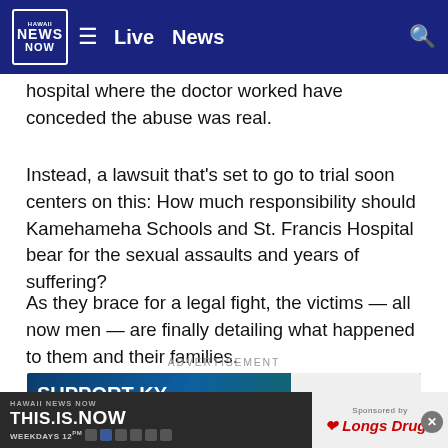Hawaii News Now — Live | News
hospital where the doctor worked have conceded the abuse was real.
Instead, a lawsuit that's set to go to trial soon centers on this: How much responsibility should Kamehameha Schools and St. Francis Hospital bear for the sexual assaults and years of suffering?
As they brace for a legal fight, the victims — all now men — are finally detailing what happened to them and their families.
ADVERTISEMENT
[Figure (other): Advertisement banner: SUPPORT KY FLOOD RELIEF with Appalachia mountains graphic and gray television network logo]
[Figure (other): Sticky bottom bar: Hawaii News Now THIS.IS.NOW Weekdays 12PM sponsored by Longs Drugs]